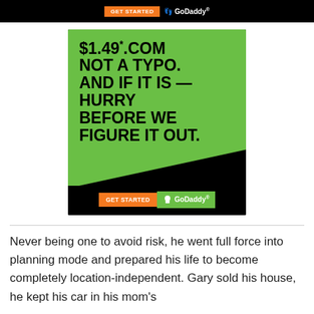[Figure (infographic): Top black banner strip with orange GET STARTED button and GoDaddy logo in white]
[Figure (infographic): GoDaddy advertisement on green background with bold black text: '$1.49* .COM NOT A TYPO. AND IF IT IS — HURRY BEFORE WE FIGURE IT OUT.' with orange GET STARTED button and GoDaddy logo at bottom on black background.]
Never being one to avoid risk, he went full force into planning mode and prepared his life to become completely location-independent. Gary sold his house, he kept his car in his mom's